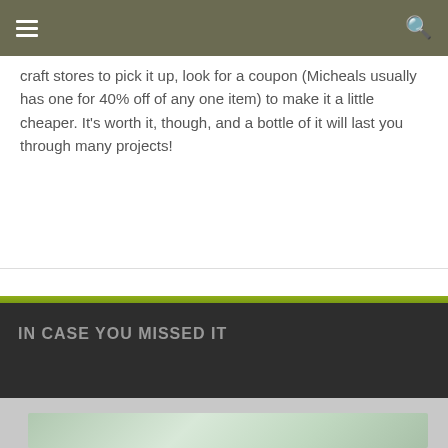navigation bar with hamburger menu and search icon
craft stores to pick it up, look for a coupon (Micheals usually has one for 40% off of any one item) to make it a little cheaper. It’s worth it, though, and a bottle of it will last you through many projects!
IN CASE YOU MISSED IT
[Figure (photo): Partial view of a photo strip at the bottom of the page showing a light green/teal toned image, partially visible]